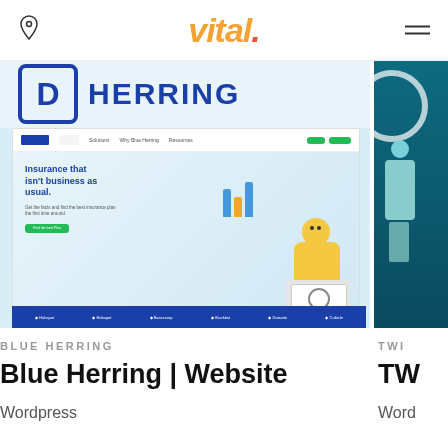vital.
[Figure (screenshot): Blue Herring website screenshot showing hero section with 'Insurance that isn't business as usual.' headline and a character illustration]
BLUE HERRING
Blue Herring | Website
Wordpress
[Figure (screenshot): Partial second card showing TWI project with teal/dark background]
TWI
Word